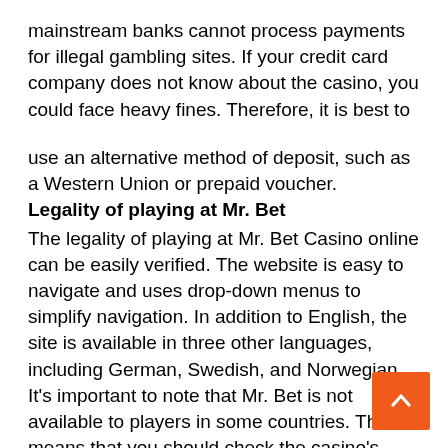mainstream banks cannot process payments for illegal gambling sites. If your credit card company does not know about the casino, you could face heavy fines. Therefore, it is best to
use an alternative method of deposit, such as a Western Union or prepaid voucher.
Legality of playing at Mr. Bet
The legality of playing at Mr. Bet Casino online can be easily verified. The website is easy to navigate and uses drop-down menus to simplify navigation. In addition to English, the site is available in three other languages, including German, Swedish, and Norwegian. It's important to note that Mr. Bet is not available to players in some countries. This means that you should check the casino's license before playing.